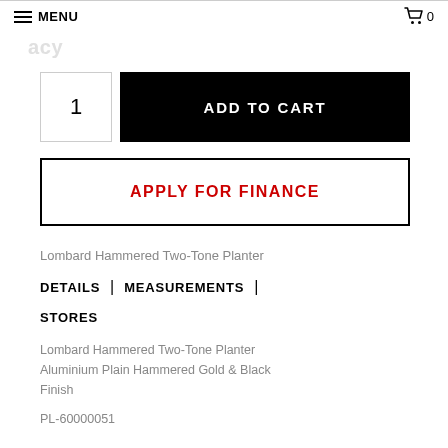MENU   0
1
ADD TO CART
APPLY FOR FINANCE
Lombard Hammered Two-Tone Planter
DETAILS | MEASUREMENTS | STORES
Lombard Hammered Two-Tone Planter Aluminium Plain Hammered Gold & Black Finish
PL-60000051